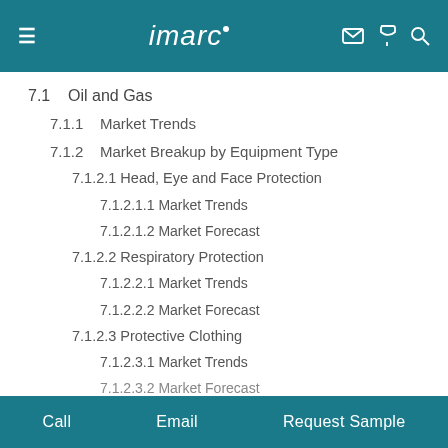imarc
7.1   Oil and Gas
7.1.1   Market Trends
7.1.2   Market Breakup by Equipment Type
7.1.2.1 Head, Eye and Face Protection
7.1.2.1.1 Market Trends
7.1.2.1.2 Market Forecast
7.1.2.2 Respiratory Protection
7.1.2.2.1 Market Trends
7.1.2.2.2 Market Forecast
7.1.2.3 Protective Clothing
7.1.2.3.1 Market Trends
7.1.2.3.2 Market Forecast
Call   Email   Request Sample